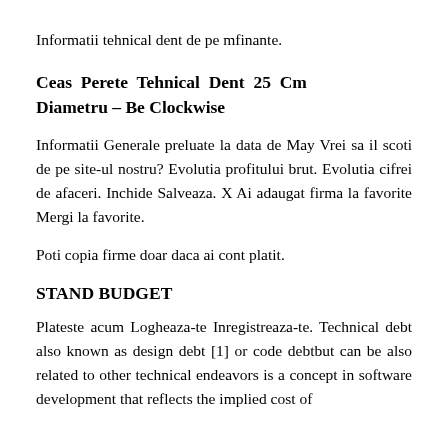Informatii tehnical dent de pe mfinante.
Ceas Perete Tehnical Dent 25 Cm Diametru – Be Clockwise
Informatii Generale preluate la data de May Vrei sa il scoti de pe site-ul nostru? Evolutia profitului brut. Evolutia cifrei de afaceri. Inchide Salveaza. X Ai adaugat firma la favorite Mergi la favorite.
Poti copia firme doar daca ai cont platit.
STAND BUDGET
Plateste acum Logheaza-te Inregistreaza-te. Technical debt also known as design debt [1] or code debtbut can be also related to other technical endeavors is a concept in software development that reflects the implied cost of